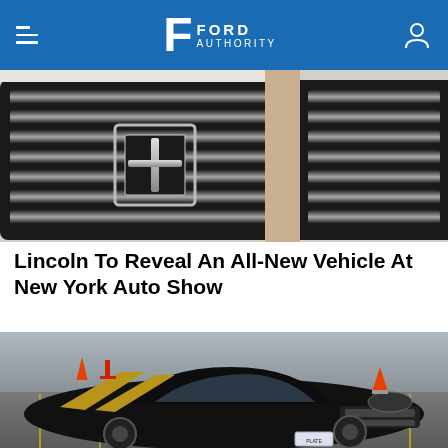Ford Authority
[Figure (photo): Close-up of a Lincoln vehicle front grille with chrome star/cross emblem, showing dark metallic slats and white body panel]
Lincoln To Reveal An All-New Vehicle At New York Auto Show
[Figure (photo): Black Ford Mustang with gold racing stripes parked in a parking lot with orange traffic cones in the background]